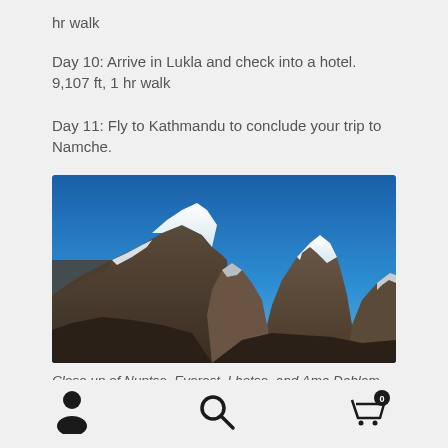hr walk
Day 10: Arrive in Lukla and check into a hotel. 9,107 ft, 1 hr walk
Day 11: Fly to Kathmandu to conclude your trip to Namche.
[Figure (photo): Mountain panorama showing close up of Nuptse, Everest, Lhotse, and Ama Dablam with snow-capped peaks against a blue sky.]
Close up of Nuptse, Everest, Lhotse, and Ama Dablam